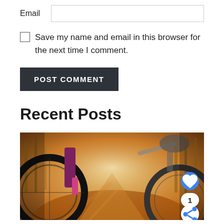Email
Save my name and email in this browser for the next time I comment.
POST COMMENT
Recent Posts
[Figure (photo): Two mountain bikers riding fast on an autumn trail through a forest, low angle action shot with motion blur on the dirt path. Orange and yellow fall foliage visible in background. Like (heart) button, count of 1, and share button visible in bottom right.]